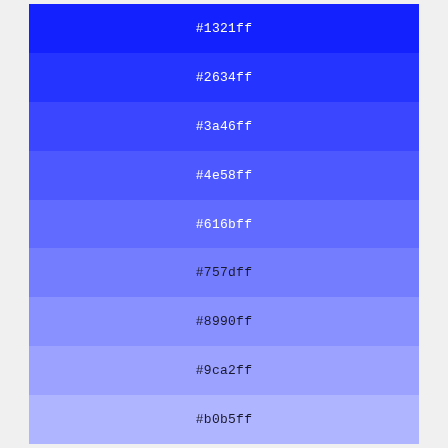[Figure (infographic): A vertical stack of 9 color swatches showing a blue color palette ranging from deep blue (#1321ff) at the top to light periwinkle (#b0b5ff) at the bottom. Each swatch displays its hex color code in the center.]
#1321ff
#2634ff
#3a46ff
#4e58ff
#616bff
#757dff
#8990ff
#9ca2ff
#b0b5ff